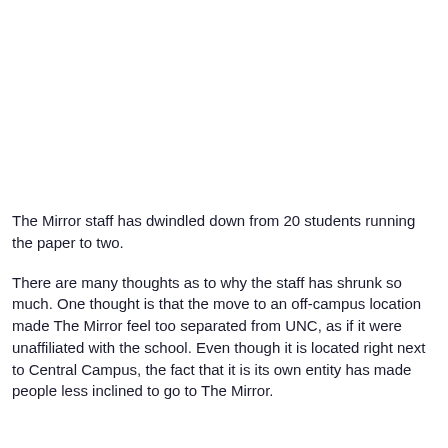The Mirror staff has dwindled down from 20 students running the paper to two.
There are many thoughts as to why the staff has shrunk so much. One thought is that the move to an off-campus location made The Mirror feel too separated from UNC, as if it were unaffiliated with the school. Even though it is located right next to Central Campus, the fact that it is its own entity has made people less inclined to go to The Mirror.